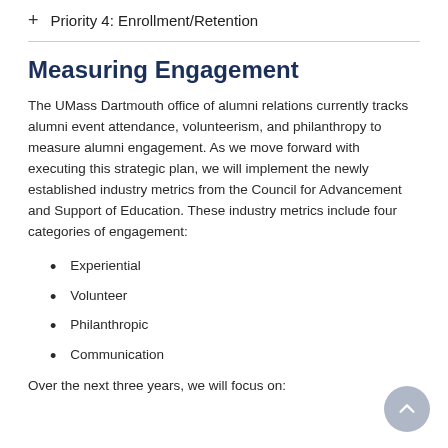+ Priority 4: Enrollment/Retention
Measuring Engagement
The UMass Dartmouth office of alumni relations currently tracks alumni event attendance, volunteerism, and philanthropy to measure alumni engagement. As we move forward with executing this strategic plan, we will implement the newly established industry metrics from the Council for Advancement and Support of Education. These industry metrics include four categories of engagement:
Experiential
Volunteer
Philanthropic
Communication
Over the next three years, we will focus on: